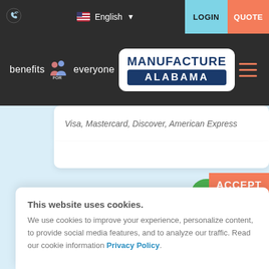LOGIN  QUOTE  English
[Figure (logo): Benefits for everyone logo with people icon and Manufacture Alabama logo in white rounded box]
Visa, Mastercard, Discover, American Express
ACCEPT
This website uses cookies. We use cookies to improve your experience, personalize content, to provide social media features, and to analyze our traffic. Read our cookie information Privacy Policy.